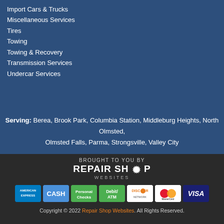Import Cars & Trucks
Miscellaneous Services
Tires
Towing
Towing & Recovery
Transmission Services
Undercar Services
Serving: Berea, Brook Park, Columbia Station, Middleburg Heights, North Olmsted, Olmsted Falls, Parma, Strongsville, Valley City
[Figure (logo): Repair Shop Websites logo with gear icon]
[Figure (infographic): Payment method icons: American Express, Cash, Personal Checks, Debit/ATM, Discover, MasterCard, Visa]
Copyright © 2022 Repair Shop Websites. All Rights Reserved.